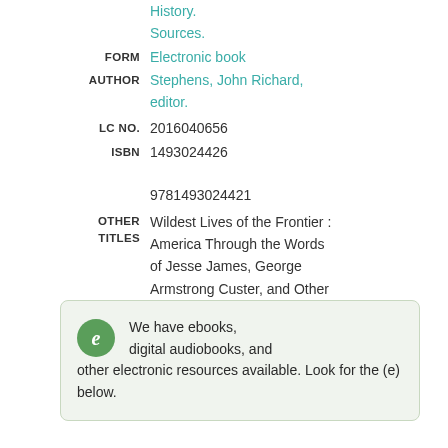History.
Sources.
FORM  Electronic book
AUTHOR  Stephens, John Richard, editor.
LC NO.  2016040656
ISBN  1493024426
9781493024421
OTHER TITLES  Wildest Lives of the Frontier : America Through the Words of Jesse James, George Armstrong Custer, and Other Famous Westerners
We have ebooks, digital audiobooks, and other electronic resources available. Look for the (e) below.